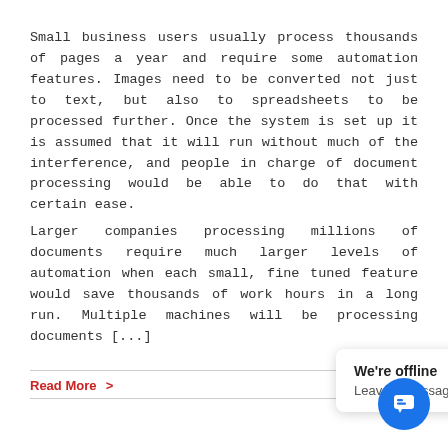Small business users usually process thousands of pages a year and require some automation features. Images need to be converted not just to text, but also to spreadsheets to be processed further. Once the system is set up it is assumed that it will run without much of the interference, and people in charge of document processing would be able to do that with certain ease.
Larger companies processing millions of documents require much larger levels of automation when each small, fine tuned feature would save thousands of work hours in a long run. Multiple machines will be processing documents [...]
Read More >
[Figure (other): Live chat widget showing 'We're offline' and 'Leave a message' with a blue circular chat button icon]